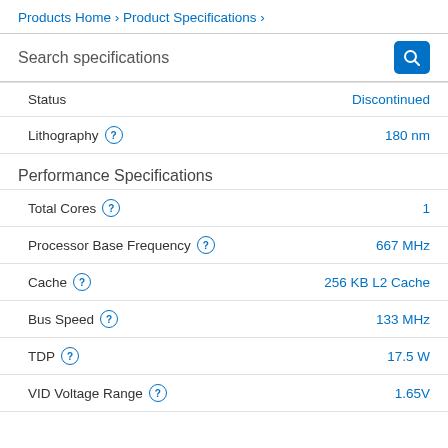Products Home › Product Specifications ›
Search specifications
| Specification | Value |
| --- | --- |
| Status | Discontinued |
| Lithography | 180 nm |
Performance Specifications
| Specification | Value |
| --- | --- |
| Total Cores | 1 |
| Processor Base Frequency | 667 MHz |
| Cache | 256 KB L2 Cache |
| Bus Speed | 133 MHz |
| TDP | 17.5 W |
| VID Voltage Range | 1.65V |